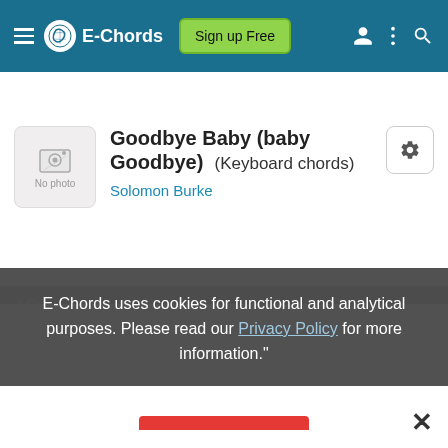E-Chords | Sign up Free
Goodbye Baby (baby Goodbye) (Keyboard chords)
Solomon Burke
E-Chords uses cookies for functional and analytical purposes. Please read our Privacy Policy for more information."